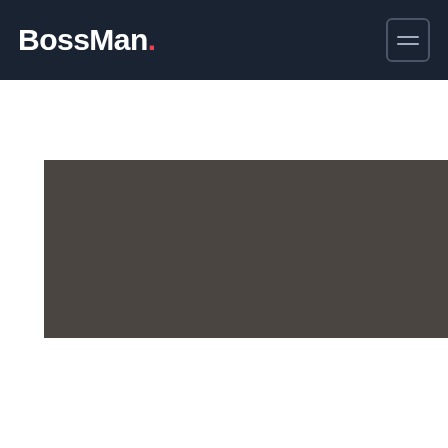BossMan.
[Figure (photo): Dark grayish-brown rectangular image area, appears to be a hero/banner image placeholder with no visible content.]
““ The BossMan team developed strong creative and a marketing strategy that ensured the success of our campaign